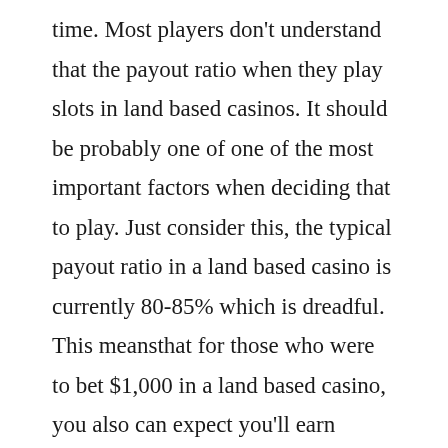time. Most players don't understand that the payout ratio when they play slots in land based casinos. It should be probably one of one of the most important factors when deciding that to play. Just consider this, the typical payout ratio in a land based casino is currently 80-85% which is dreadful. This meansthat for those who were to bet $1,000 in a land based casino, you also can expect you'll earn straight back $800-850. Land based casinos do not advertise all these amounts into the public since they're quite low, it is really embarrassing. At internet casinos, then you also can get